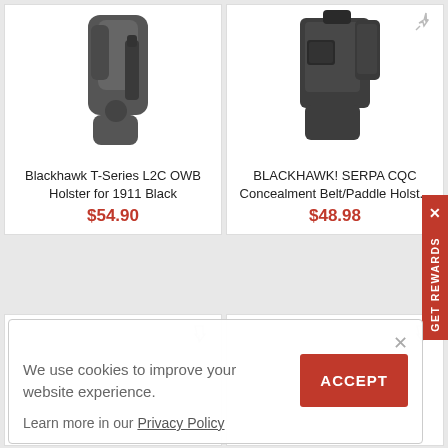[Figure (photo): Blackhawk T-Series L2C OWB Holster for 1911 Black - dark grey polymer holster]
Blackhawk T-Series L2C OWB Holster for 1911 Black
$54.90
[Figure (photo): BLACKHAWK! SERPA CQC Concealment Belt/Paddle Holster - black polymer holster]
BLACKHAWK! SERPA CQC Concealment Belt/Paddle Holst...
$48.98
We use cookies to improve your website experience.
Learn more in our Privacy Policy
ACCEPT